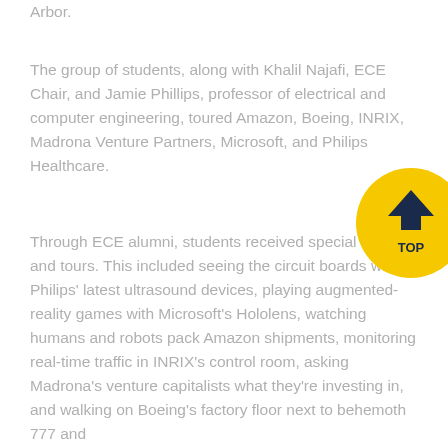Arbor.
The group of students, along with Khalil Najafi, ECE Chair, and Jamie Phillips, professor of electrical and computer engineering, toured Amazon, Boeing, INRIX, Madrona Venture Partners, Microsoft, and Philips Healthcare.
Through ECE alumni, students received special access and tours. This included seeing the circuit boards within Philips' latest ultrasound devices, playing augmented-reality games with Microsoft's Hololens, watching humans and robots pack Amazon shipments, monitoring real-time traffic in INRIX's control room, asking Madrona's venture capitalists what they're investing in, and walking on Boeing's factory floor next to behemoth 777 and
[Figure (other): Yellow circular 'TOP' button with dark navy upward chevron arrow and text 'TOP' below it]